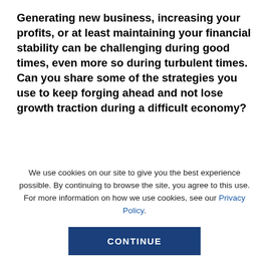Generating new business, increasing your profits, or at least maintaining your financial stability can be challenging during good times, even more so during turbulent times. Can you share some of the strategies you use to keep forging ahead and not lose growth traction during a difficult economy?
The first strategy is to look to retain existing customers. By looking at the lifetime value of an existing customer, it's a no-brainer. Customer
We use cookies on our site to give you the best experience possible. By continuing to browse the site, you agree to this use. For more information on how we use cookies, see our Privacy Policy.